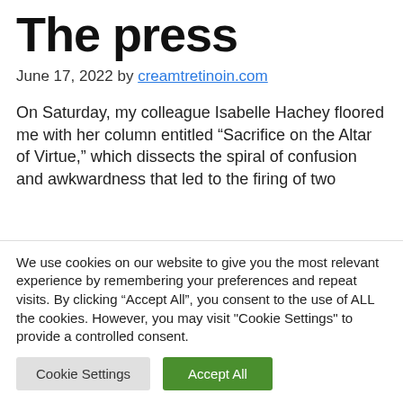The press
June 17, 2022 by creamtretinoin.com
On Saturday, my colleague Isabelle Hachey floored me with her column entitled “Sacrifice on the Altar of Virtue,” which dissects the spiral of confusion and awkwardness that led to the firing of two
We use cookies on our website to give you the most relevant experience by remembering your preferences and repeat visits. By clicking “Accept All”, you consent to the use of ALL the cookies. However, you may visit "Cookie Settings" to provide a controlled consent.